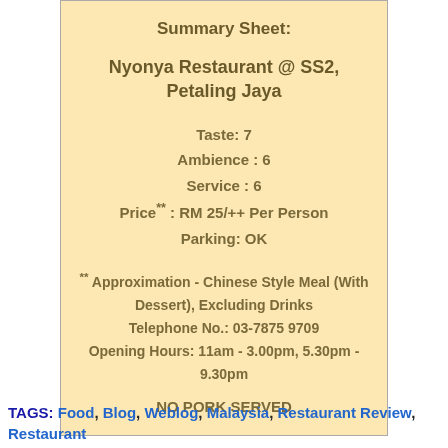Summary Sheet:
Nyonya Restaurant @ SS2, Petaling Jaya
Taste: 7
Ambience : 6
Service : 6
Price** : RM 25/++ Per Person
Parking: OK
** Approximation - Chinese Style Meal (With Dessert), Excluding Drinks
Telephone No.: 03-7875 9709
Opening Hours: 11am - 3.00pm, 5.30pm - 9.30pm
NO PORK SERVED
TAGS: Food, Blog, Weblog, Malaysia, Restaurant Review, Restaurant